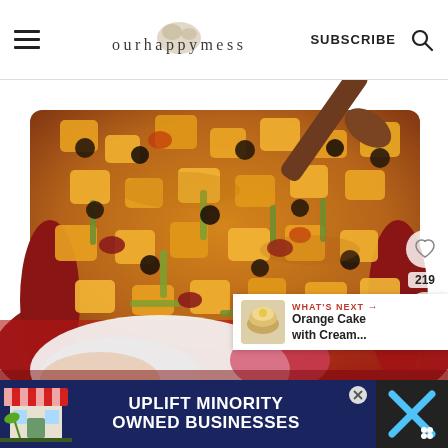ourhappymess — SUBSCRIBE
[Figure (photo): Close-up photo of a colorful vegetable and bean stew/chili in a red pot, with chunks of squash, black beans, green beans, and other vegetables in a rich orange-brown sauce, with a wooden spoon visible at the top right. A hand holding the pot with a kitchen towel is visible at the bottom.]
219
WHAT'S NEXT → Orange Cake with Cream...
UPLIFT MINORITY OWNED BUSINESSES